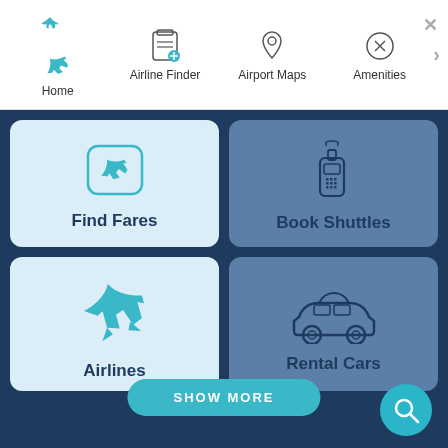[Figure (screenshot): Airport app navigation bar with icons for Home, Airline Finder, Airport Maps, Amenities, and a chevron arrow]
[Figure (screenshot): Airport app home screen grid showing four tiles: Find Fares (airplane icon, light blue), Book Shuttles (walkie-talkie icon, grey-blue), Airlines (large airplane icon, light blue), Rental Cars (car icon, grey-blue). Below is a teal SHOW MORE button and a teal circular search FAB button.]